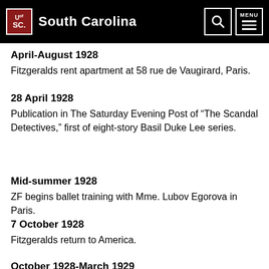University of South Carolina
April-August 1928
Fitzgeralds rent apartment at 58 rue de Vaugirard, Paris.
28 April 1928
Publication in The Saturday Evening Post of “The Scandal Detectives,” first of eight-story Basil Duke Lee series.
Mid-summer 1928
ZF begins ballet training with Mme. Lubov Egorova in Paris.
7 October 1928
Fitzgeralds return to America.
October 1928-March 1929
Fitzgeralds at “Ellerslie.”